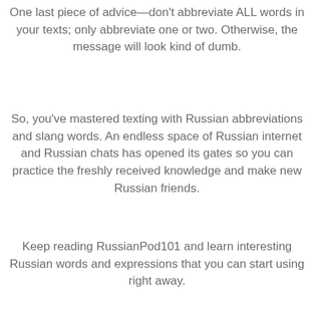One last piece of advice—don't abbreviate ALL words in your texts; only abbreviate one or two. Otherwise, the message will look kind of dumb.
So, you've mastered texting with Russian abbreviations and slang words. An endless space of Russian internet and Russian chats has opened its gates so you can practice the freshly received knowledge and make new Russian friends.
Keep reading RussianPod101 and learn interesting Russian words and expressions that you can start using right away.